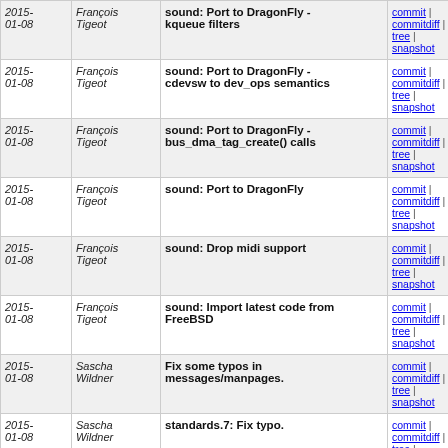| Date | Author | Commit message | Links |
| --- | --- | --- | --- |
| 2015-01-08 | François Tigeot | sound: Port to DragonFly - kqueue filters | commit | commitdiff | tree | snapshot |
| 2015-01-08 | François Tigeot | sound: Port to DragonFly - cdevsw to dev_ops semantics | commit | commitdiff | tree | snapshot |
| 2015-01-08 | François Tigeot | sound: Port to DragonFly - bus_dma_tag_create() calls | commit | commitdiff | tree | snapshot |
| 2015-01-08 | François Tigeot | sound: Port to DragonFly | commit | commitdiff | tree | snapshot |
| 2015-01-08 | François Tigeot | sound: Drop midi support | commit | commitdiff | tree | snapshot |
| 2015-01-08 | François Tigeot | sound: Import latest code from FreeBSD | commit | commitdiff | tree | snapshot |
| 2015-01-08 | Sascha Wildner | Fix some typos in messages/manpages. | commit | commitdiff | tree | snapshot |
| 2015-01-08 | Sascha Wildner | standards.7: Fix typo. | commit | commitdiff | tree | snapshot |
| 2015-01-07 | Sascha Wildner | <signal.h>: Remove no longer needed include. | commit | commitdiff | tree | snapshot |
| 2015- | Sascha | <sys/signal.h>: Expose stack_t | commit | commitdiff |